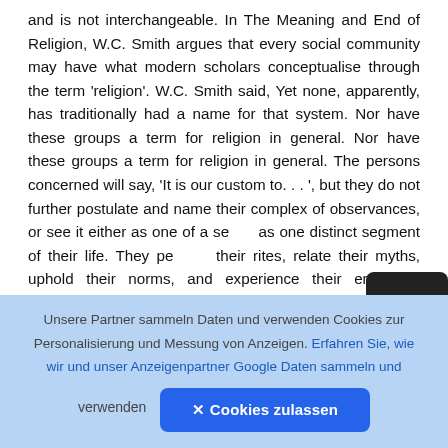and is not interchangeable. In The Meaning and End of Religion, W.C. Smith argues that every social community may have what modern scholars conceptualise through the term 'religion'. W.C. Smith said, Yet none, apparently, has traditionally had a name for that system. Nor have these groups a term for religion in general. Nor have these groups a term for religion in general. The persons concerned will say, 'It is our custom to. . . ', but they do not further postulate and name their complex of observances, or see it either as one of a se... as one distinct segment of their life. They perform their rites, relate their myths, uphold their norms, and experience their emotions, without analytic
Unsere Partner sammeln Daten und verwenden Cookies zur Personalisierung und Messung von Anzeigen. Erfahren Sie, wie wir und unser Anzeigenpartner Google Daten sammeln und verwenden
✕ Cookies zulassen